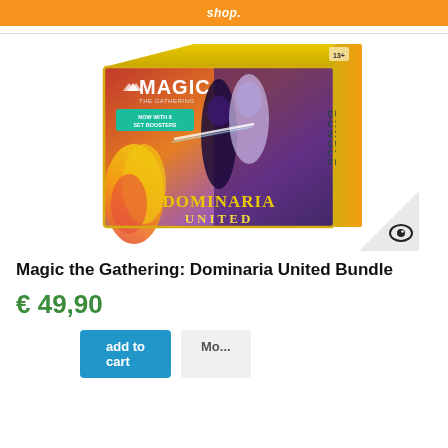shop.
[Figure (photo): Product image of Magic the Gathering: Dominaria United Bundle box. Box features colorful fantasy artwork with characters and fire, with 'MAGIC THE GATHERING' branding, 'NOW WITH 8 SET BOOSTERS', 'DOMINARIA UNITED' text, and 'BUNDLE' on the side. Age rating 13+ visible. Eye icon overlay in bottom right corner.]
Magic the Gathering: Dominaria United Bundle
€ 49,90
add to cart / More